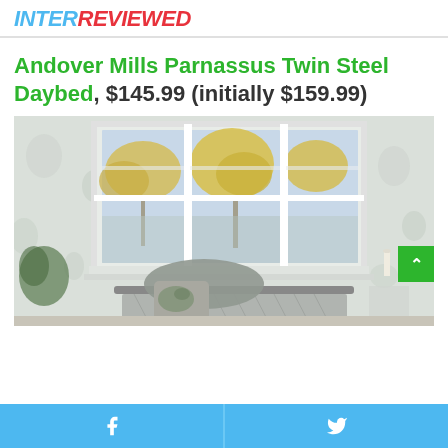INTERREVIEWED
Andover Mills Parnassus Twin Steel Daybed, $145.99 (initially $159.99)
[Figure (photo): Photo of a daybed with floral pillows positioned in front of a triple window with white frames, through which autumn trees are visible. Floral/botanical patterned wallpaper visible on walls.]
Facebook share | Twitter share